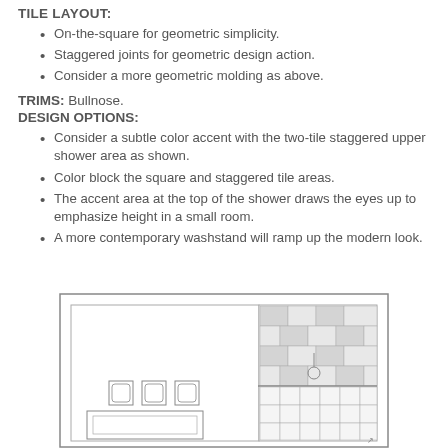TILE LAYOUT:
On-the-square for geometric simplicity.
Staggered joints for geometric design action.
Consider a more geometric molding as above.
TRIMS: Bullnose.
DESIGN OPTIONS:
Consider a subtle color accent with the two-tile staggered upper shower area as shown.
Color block the square and staggered tile areas.
The accent area at the top of the shower draws the eyes up to emphasize height in a small room.
A more contemporary washstand will ramp up the modern look.
[Figure (engineering-diagram): Floor plan or elevation drawing of a bathroom showing tile layout with staggered tiles on upper shower area, fixtures including washstand with three sinks, and tile pattern detail.]